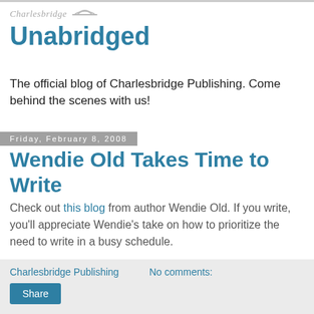[Figure (logo): Charlesbridge Unabridged blog logo with italic script 'Charlesbridge' text above large bold 'Unabridged' in teal blue]
The official blog of Charlesbridge Publishing. Come behind the scenes with us!
Friday, February 8, 2008
Wendie Old Takes Time to Write
Check out this blog from author Wendie Old. If you write, you'll appreciate Wendie's take on how to prioritize the need to write in a busy schedule.
Charlesbridge Publishing   No comments:
Share